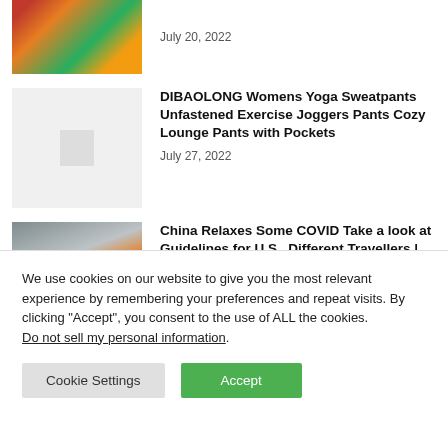[Figure (photo): Partial view of a grocery store article thumbnail showing a person with a red basket near produce]
July 20, 2022
DIBAOLONG Womens Yoga Sweatpants Unfastened Exercise Joggers Pants Cozy Lounge Pants with Pockets
July 27, 2022
[Figure (photo): People in COVID protective gear at what appears to be an airport or transit checkpoint in China]
China Relaxes Some COVID Take a look at Guidelines for U.S., Different Travellers | World Information
We use cookies on our website to give you the most relevant experience by remembering your preferences and repeat visits. By clicking “Accept”, you consent to the use of ALL the cookies.
Do not sell my personal information.